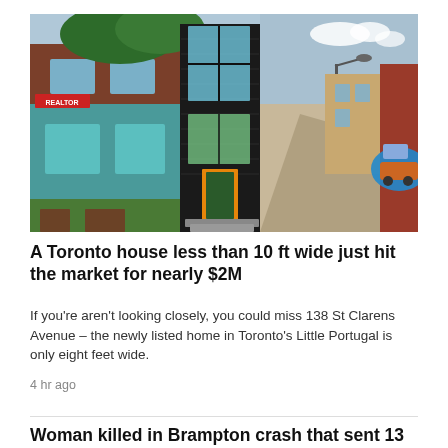[Figure (photo): Exterior photo of a very narrow modern house clad in dark metal siding with large glass windows, squeezed between a colourful older brick house on the left and an alley with graffiti on the right, in a Toronto neighbourhood.]
A Toronto house less than 10 ft wide just hit the market for nearly $2M
If you're aren't looking closely, you could miss 138 St Clarens Avenue – the newly listed home in Toronto's Little Portugal is only eight feet wide.
4 hr ago
Woman killed in Brampton crash that sent 13